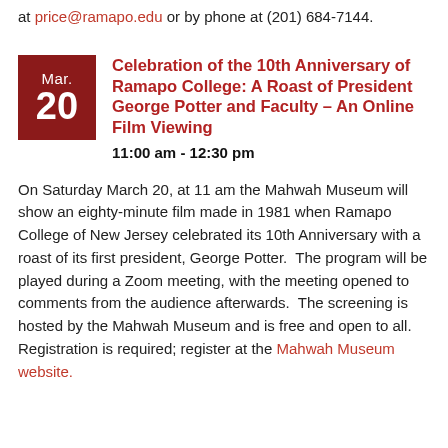at price@ramapo.edu or by phone at (201) 684-7144.
Celebration of the 10th Anniversary of Ramapo College: A Roast of President George Potter and Faculty – An Online Film Viewing
11:00 am - 12:30 pm
On Saturday March 20, at 11 am the Mahwah Museum will show an eighty-minute film made in 1981 when Ramapo College of New Jersey celebrated its 10th Anniversary with a roast of its first president, George Potter.  The program will be played during a Zoom meeting, with the meeting opened to comments from the audience afterwards.  The screening is hosted by the Mahwah Museum and is free and open to all. Registration is required; register at the Mahwah Museum website.